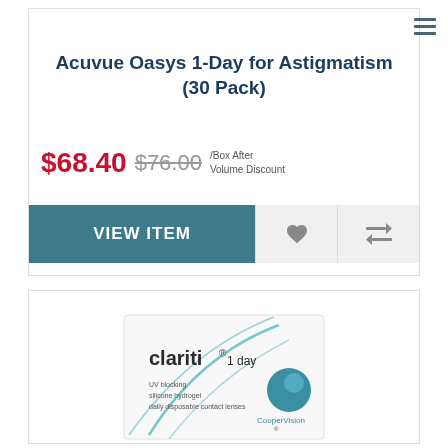Acuvue Oasys 1-Day for Astigmatism (30 Pack)
$68.40 $76.00 /Box After Volume Discount
VIEW ITEM
[Figure (photo): Clariti 1 day contact lens box by CooperVision showing teal/blue branding and a blue sphere logo]